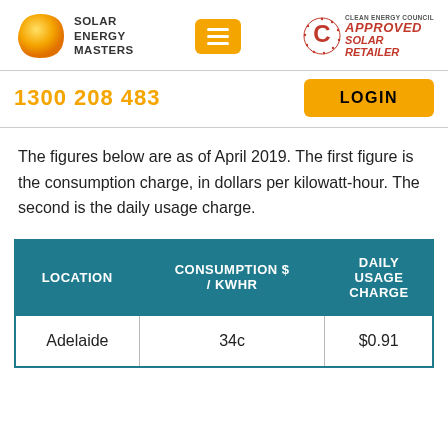[Figure (logo): Solar Energy Masters logo with orange sun graphic and text SOLAR ENERGY MASTERS]
[Figure (logo): Clean Energy Council Approved Solar Retailer badge with red C logo]
1300 208 483
LOGIN
The figures below are as of April 2019. The first figure is the consumption charge, in dollars per kilowatt-hour. The second is the daily usage charge.
| LOCATION | CONSUMPTION $ / kWhr | DAILY USAGE CHARGE |
| --- | --- | --- |
| Adelaide | 34c | $0.91 |